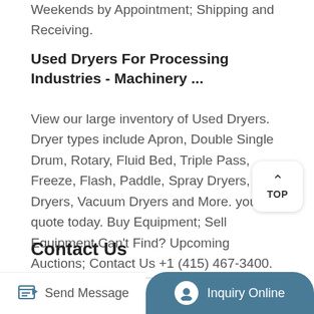Weekends by Appointment; Shipping and Receiving.
Used Dryers For Processing Industries - Machinery ...
View our large inventory of Used Dryers. Dryer types include Apron, Double Single Drum, Rotary, Fluid Bed, Triple Pass, Freeze, Flash, Paddle, Spray Dryers, Tray Dryers, Vacuum Dryers and More. your quote today. Buy Equipment; Sell Equipment Can't Find? Upcoming Auctions; Contact Us +1 (415) 467-3400. info@machineryandequipment.com ...
Contact Us